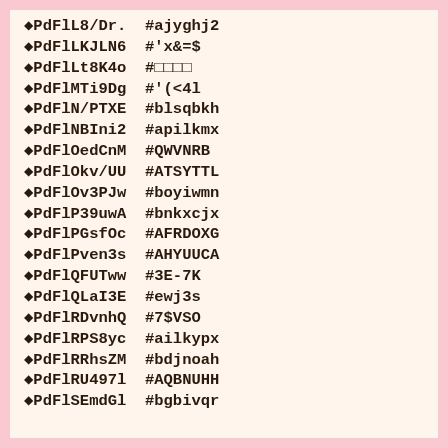◆PdFlL8/Dr.  #ajyghj2
◆PdFlLKJLN6  #'x&=$
◆PdFlLt8K4o  #□□□□
◆PdFlMTi9Dg  #'(<4l
◆PdFlN/PTXE  #blsqbkh
◆PdFlNBIni2  #apilkmx
◆PdFlOedCnM  #QWVNRB
◆PdFlOkv/UU  #ATSYTTL
◆PdFlOv3PJw  #boyiwmn
◆PdFlP39uwA  #bnkxcjx
◆PdFlPGsfOc  #AFRDOXG
◆PdFlPven3s  #AHYUUCA
◆PdFlQFUTww  #3E-7K
◆PdFlQLaI3E  #ewj3s
◆PdFlRDvnhQ  #7$VSO
◆PdFlRPS8yc  #ailkypx
◆PdFlRRhsZM  #bdjnoah
◆PdFlRU497l  #AQBNUHH
◆PdFlSEmdGl  #bgbivqr